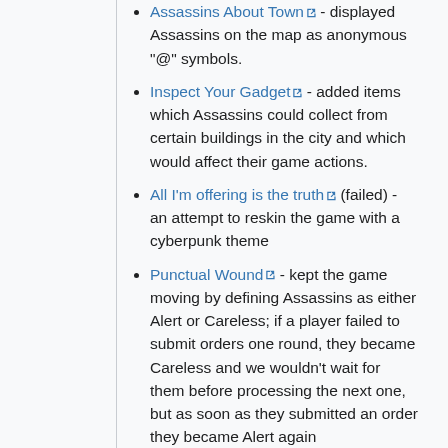Assassins About Town - displayed Assassins on the map as anonymous "@" symbols.
Inspect Your Gadget - added items which Assassins could collect from certain buildings in the city and which would affect their game actions.
All I'm offering is the truth (failed) - an attempt to reskin the game with a cyberpunk theme
Punctual Wound - kept the game moving by defining Assassins as either Alert or Careless; if a player failed to submit orders one round, they became Careless and we wouldn't wait for them before processing the next one, but as soon as they submitted an order they became Alert again